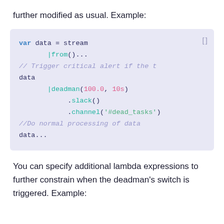further modified as usual. Example:
[Figure (screenshot): Code block showing a stream variable with deadman alert configuration: var data = stream |from()... // Trigger critical alert if the t data |deadman(100.0, 10s) .slack() .channel('#dead_tasks') //Do normal processing of data data...]
You can specify additional lambda expressions to further constrain when the deadman's switch is triggered. Example: